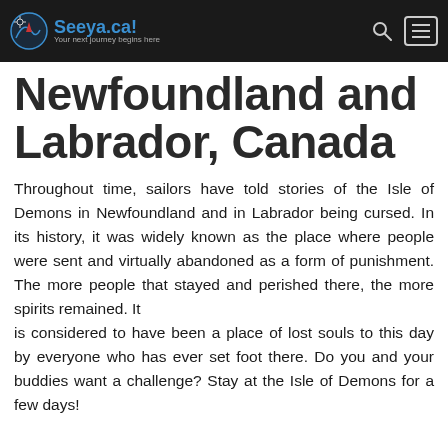Seeya.ca! — Your next journey begins here
Newfoundland and Labrador, Canada
Throughout time, sailors have told stories of the Isle of Demons in Newfoundland and in Labrador being cursed. In its history, it was widely known as the place where people were sent and virtually abandoned as a form of punishment. The more people that stayed and perished there, the more spirits remained. It is considered to have been a place of lost souls to this day by everyone who has ever set foot there. Do you and your buddies want a challenge? Stay at the Isle of Demons for a few days!